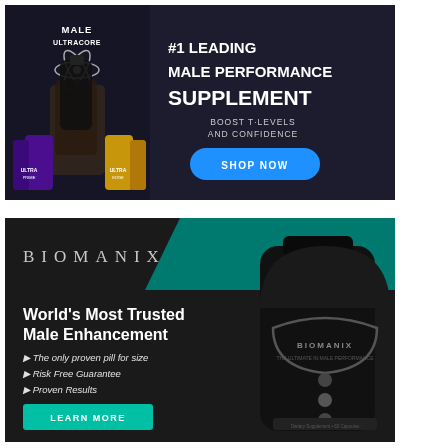[Figure (infographic): Male Ultracore supplement advertisement banner. Dark background with hand holding black bottle and two supplement bottles. Text: #1 LEADING MALE PERFORMANCE SUPPLEMENT, BOOST T-LEVELS AND CONFIDENCE, SHOP NOW button.]
[Figure (infographic): Biomanix supplement advertisement banner. Dark background with teal accent band. Shows black supplement bottle on right. Text: BIOMANIX logo, World's Most Trusted Male Enhancement, bullet points: The only proven pill for size, Risk Free Guarantee, Proven Results. LEARN MORE button.]